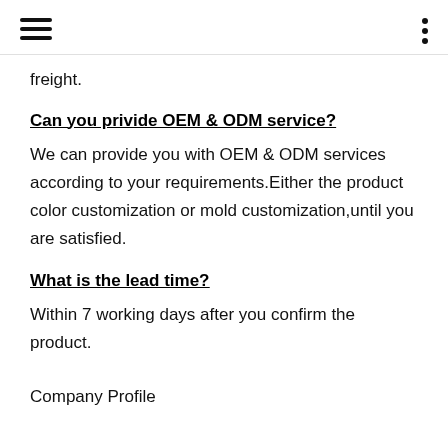[hamburger menu icon] [three dots icon]
freight.
Can you privide OEM & ODM service?
We can provide you with OEM & ODM services according to your requirements.Either the product color customization or mold customization,until you are satisfied.
What is the lead time?
Within 7 working days after you confirm the product.
Company Profile